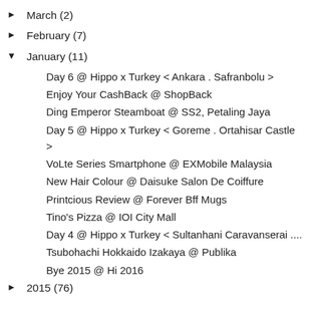► March (2)
► February (7)
▼ January (11)
Day 6 @ Hippo x Turkey < Ankara . Safranbolu >
Enjoy Your CashBack @ ShopBack
Ding Emperor Steamboat @ SS2, Petaling Jaya
Day 5 @ Hippo x Turkey < Goreme . Ortahisar Castle >
VoLte Series Smartphone @ EXMobile Malaysia
New Hair Colour @ Daisuke Salon De Coiffure
Printcious Review @ Forever Bff Mugs
Tino's Pizza @ IOI City Mall
Day 4 @ Hippo x Turkey < Sultanhani Caravanserai ....
Tsubohachi Hokkaido Izakaya @ Publika
Bye 2015 @ Hi 2016
► 2015 (76)